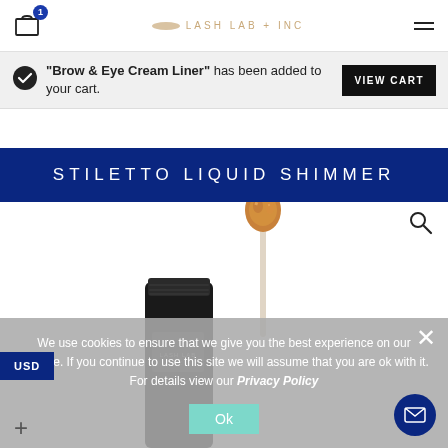LASH LAB + INC — navigation header with cart icon (badge: 1) and hamburger menu
"Brow & Eye Cream Liner" has been added to your cart.
STILETTO LIQUID SHIMMER
[Figure (photo): Product photo of a black liquid shimmer tube with applicator brush showing copper/gold shimmer pigment on the tip]
We use cookies to ensure that we give you the best experience on our website. If you continue to use this site we will assume that you are ok with it. For details view our Privacy Policy